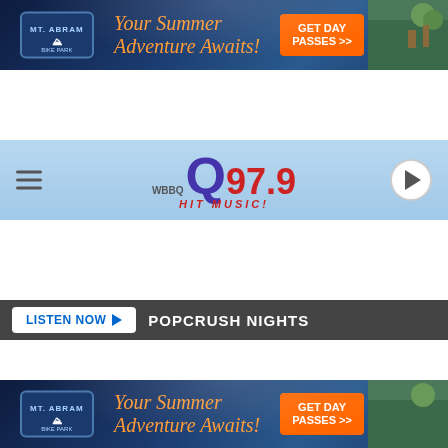[Figure (screenshot): Mt. Abram Bike Park advertisement banner with dark blue background showing 'Your Summer Adventure Awaits!' tagline and 'GET DAY PASSES >>' orange button]
[Figure (logo): Q97.9 Hit Music radio station logo on light blue gradient header with hamburger menu icon on left and play button on right]
[Figure (screenshot): Listen Now button bar with dark background showing 'LISTEN NOW' button and 'POPCRUSH NIGHTS' text]
[Figure (photo): Winter storm damage photo showing fallen snow-covered tree branches across a street, with people standing near a stone wall, evergreen trees on right, speed limit 25 sign, and Getty Images watermark]
POTENTIAL WIND STORM ON CHRISTMAS DAY COULD BE THE ULTIMATE GRINCH FOR MAINE
[Figure (screenshot): Mt. Abram Bike Park advertisement banner (repeated at bottom) with dark blue background showing 'Your Summer Adventure Awaits!' tagline and 'GET DAY PASSES >>' orange button]